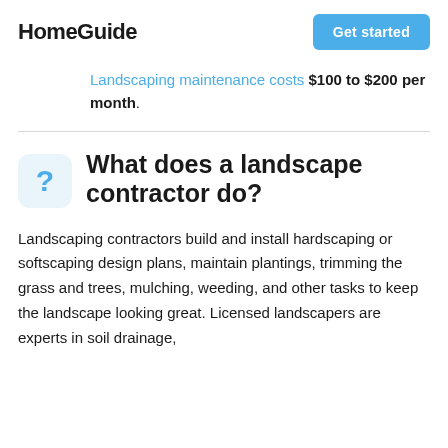HomeGuide
Landscaping maintenance costs $100 to $200 per month.
What does a landscape contractor do?
Landscaping contractors build and install hardscaping or softscaping design plans, maintain plantings, trimming the grass and trees, mulching, weeding, and other tasks to keep the landscape looking great. Licensed landscapers are experts in soil drainage,